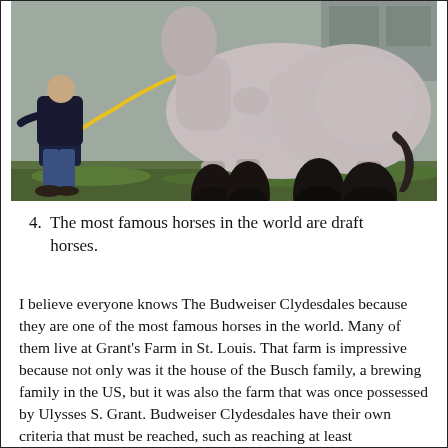[Figure (photo): A very large draft horse (grey/roan colored with heavy black feathering on its legs) being held by a man with a yellow lead rope, standing outside against a concrete wall background.]
4. The most famous horses in the world are draft horses.
I believe everyone knows The Budweiser Clydesdales because they are one of the most famous horses in the world. Many of them live at Grant's Farm in St. Louis. That farm is impressive because not only was it the house of the Busch family, a brewing family in the US, but it was also the farm that was once possessed by Ulysses S. Grant. Budweiser Clydesdales have their own criteria that must be reached, such as reaching at least